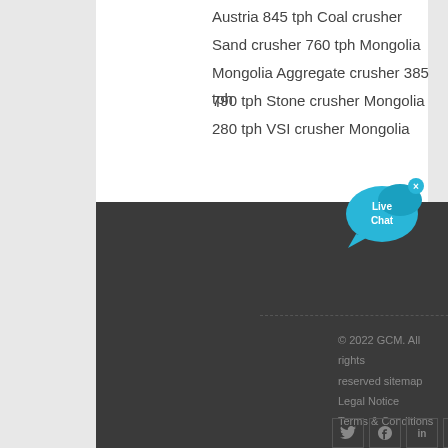Austria 845 tph Coal crusher
Sand crusher 760 tph Mongolia
Mongolia Aggregate crusher 385 tph
790 tph Stone crusher Mongolia
280 tph VSI crusher Mongolia
[Figure (other): Live Chat speech bubble icon in blue]
© 2022 GCM. All rights reserved sitemap
Legal Notice
Terms & Conditions